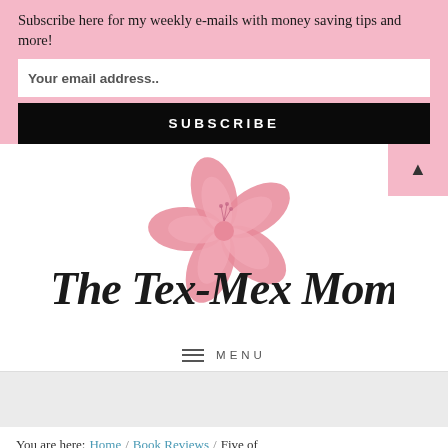Subscribe here for my weekly e-mails with money saving tips and more!
Your email address..
SUBSCRIBE
[Figure (logo): The Tex-Mex Mom logo with pink hibiscus flower and cursive script text]
MENU
You are here: Home / Book Reviews / Five of